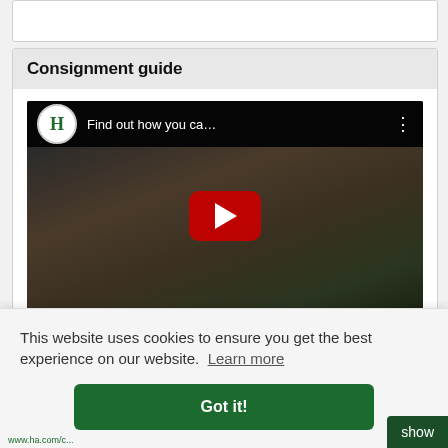Consignment guide
[Figure (screenshot): YouTube video thumbnail showing a man in a dark sweater, with the title 'Find out how you ca...' and a circular H logo (Heritage Auctions) in the top-left. A red YouTube play button is centered on the video.]
This website uses cookies to ensure you get the best experience on our website. Learn more
Got it!